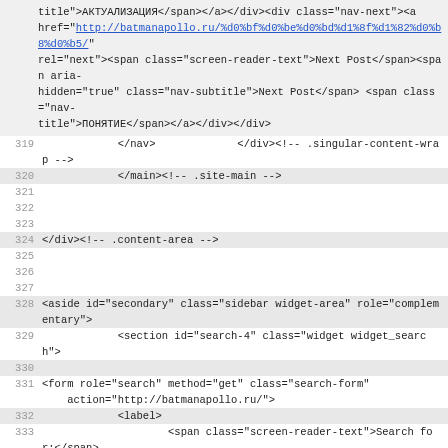title">АКТУАЛИЗАЦИЯ</span></a></div><div class="nav-next"><a href="http://batmanapollo.ru/%d0%bf%d0%be%d0%bd%d1%8f%d1%82%d0%b8%d0%b5/" rel="next"><span class="screen-reader-text">Next Post</span><span aria-hidden="true" class="nav-subtitle">Next Post</span> <span class="nav-title">ПОНЯТИЕ</span></a></div></div>
319     </nav>             </div><!-- .singular-content-wrap -->
320     </main><!-- .site-main -->
321
322
323
324 </div><!-- .content-area -->
325
326
327
328 <aside id="secondary" class="sidebar widget-area" role="complementary">
329     <section id="search-4" class="widget widget_search">
330
331 <form role="search" method="get" class="search-form" action="http://batmanapollo.ru/">
332     <label>
333             <span class="screen-reader-text">Search for:</span>
334             <input type="search" class="search-field" placeholder="Поиск" value="" name="s" />
335     </label>
336     <button type="submit" class="search-submit"><svg class="icon icon-search" aria-hidden="true" role="img"> <use href="#icon-search" xlink:href="#icon-search"></use> </svg><span class="screen-reader-text">Search</span></button>
337 </form>
338 </section><section id="block-39" class="widget widget_block widget_text">
339 <p class="has-normal-font-size" style="letter-spacing:3px"><strong>НОВОЕ НА САЙТЕ :</strong></p>